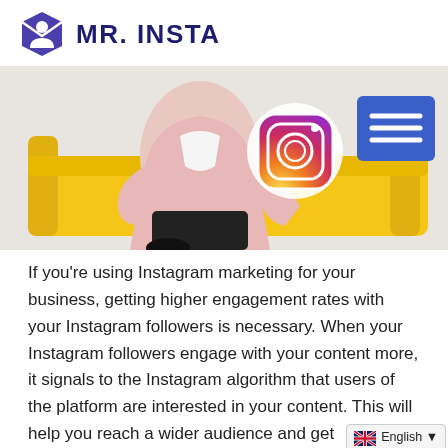[Figure (logo): Mr. Insta logo: purple hexagon shape with white person silhouette icon, next to bold dark blue text 'MR. INSTA']
[Figure (photo): Woman in pink blazer sitting on yellow sofa holding a large Instagram logo icon. Blue menu button in top right corner.]
If you’re using Instagram marketing for your business, getting higher engagement rates with your Instagram followers is necessary. When your Instagram followers engage with your content more, it signals to the Instagram algorithm that users of the platform are interested in your content. This will help you reach a wider audience and get